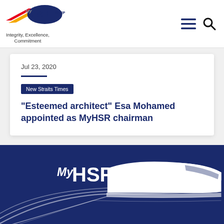[Figure (logo): MyHSR Corp logo with tagline 'Integrity, Excellence, Commitment' in top left header]
[Figure (logo): Hamburger menu icon and search icon in top right header]
Jul 23, 2020
New Straits Times
"Esteemed architect" Esa Mohamed appointed as MyHSR chairman
[Figure (logo): MyHSR Corp large white logo with train silhouette on dark blue background footer]